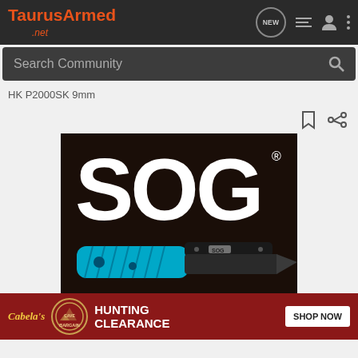TaurusArmed .net
Search Community
HK P2000SK 9mm
[Figure (screenshot): SOG brand advertisement image showing SOG logo in white on dark background, with a blue folding pocket knife below the logo. Below the knife image is a Cabela's Bargain Cave Hunting Clearance advertisement banner with a Shop Now button.]